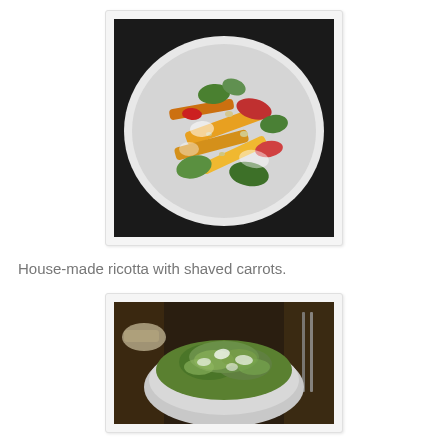[Figure (photo): A white plate with house-made ricotta topped with shaved carrots (orange and red), herbs, and pine nuts on a dark background.]
House-made ricotta with shaved carrots.
[Figure (photo): A white bowl filled with a green salad, likely a Caesar or chopped salad with shredded lettuce, herbs, and white cheese, on a dark restaurant table with silverware visible.]